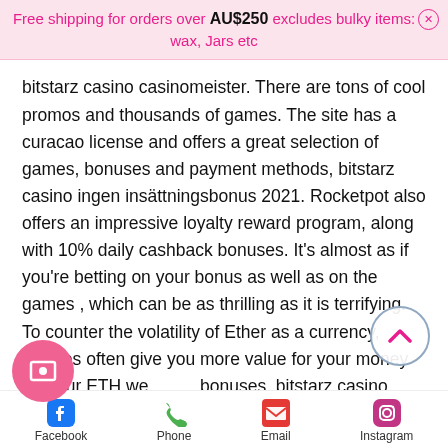Free shipping for orders over AU$250 excludes bulky items: wax, Jars etc
bitstarz casino casinomeister. There are tons of cool promos and thousands of games. The site has a curacao license and offers a great selection of games, bonuses and payment methods, bitstarz casino ingen insättningsbonus 2021. Rocketpot also offers an impressive loyalty reward program, along with 10% daily cashback bonuses. It's almost as if you're betting on your bonus as well as on the games , which can be as thrilling as it is terrifying. To counter the volatility of Ether as a currency, casinos often give you more value for your money for your ETH welcome bonuses, bitstarz casino complaints. My favorite dice game strategy is to chase big wins. It's mathematically speaking the right
Facebook | Phone | Email | Instagram